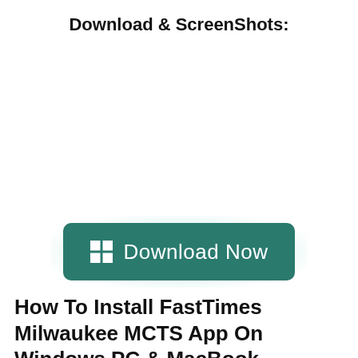Download & ScreenShots:
[Figure (illustration): A teal/green Download Now button with a Windows logo icon on the left, surrounded by a soft glowing halo effect on a white background.]
How To Install FastTimes Milwaukee MCTS App On Windows PC & MacBook